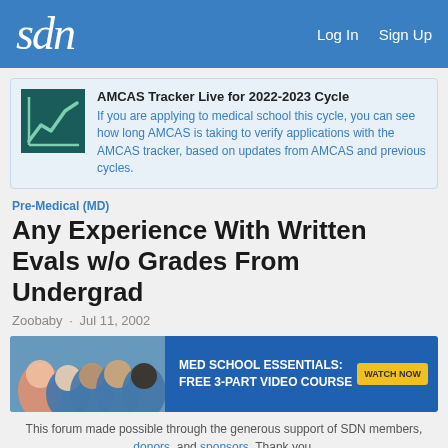sdn  Log In  Sign Up
[Figure (infographic): AMCAS Tracker promotional banner with line chart icon on teal background]
AMCAS Tracker Live for 2022-2023 Cycle
If you are applying to medical school this cycle, you can see how long AMCAS is taking to verify applications with the AMCAS tracker, based on updates from AMCAS and previous cycles.
Pre-Medical (MD)
Any Experience With Written Evals w/o Grades From Undergrad
Zoobaby · Jul 11, 2002
[Figure (infographic): Advertisement banner: Med School Essentials: Free 3-Part Video Course. Watch Now button. Shows group of students in blue scrubs.]
This forum made possible through the generous support of SDN members, donors, and sponsors. Thank you.
Zoobaby